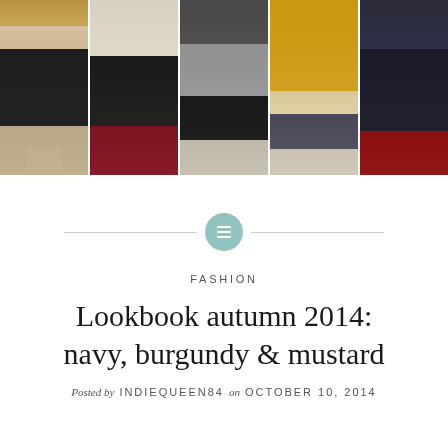[Figure (photo): Five-panel photo strip showing lower halves of people wearing autumn outfits: navy tights and tan boots, black tights and burgundy shoes, grey pants and black oxfords, mustard yellow pants and sneakers, black outfit with red heels.]
Lookbook autumn 2014: navy, burgundy & mustard
Posted by INDIEQUEEN84 on OCTOBER 10, 2014